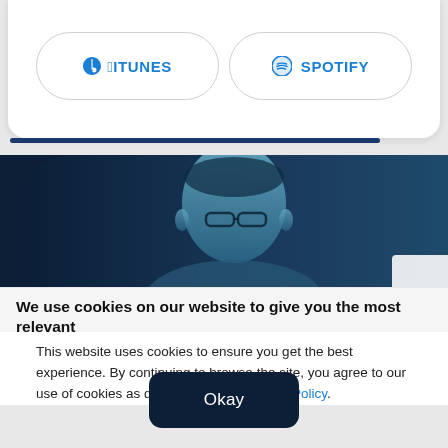CONTINUE READING
iTunes
Spotify
[Figure (photo): Man with glasses in blue-tinted dark photo]
We use cookies on our website to give you the most relevant
This website uses cookies to ensure you get the best experience. By continuing to browse the site, you agree to our use of cookies as described in our Privacy Policy.
Okay